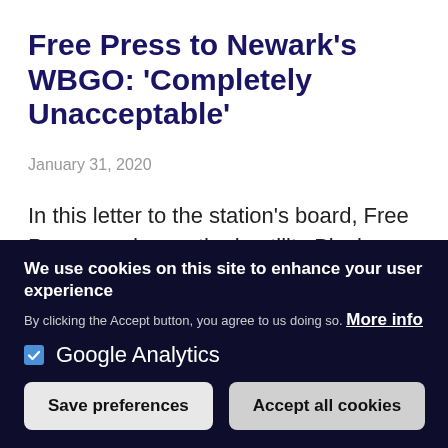Free Press to Newark's WBGO: 'Completely Unacceptable'
January 31, 2020
In this letter to the station's board, Free Press condemns the hostility Black employees have experienced and urges it to take action.
We use cookies on this site to enhance your user experience
By clicking the Accept button, you agree to us doing so. More info
Google Analytics
Save preferences
Accept all cookies